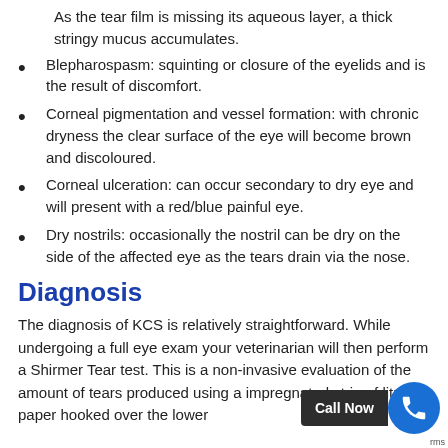As the tear film is missing its aqueous layer, a thick stringy mucus accumulates.
Blepharospasm: squinting or closure of the eyelids and is the result of discomfort.
Corneal pigmentation and vessel formation: with chronic dryness the clear surface of the eye will become brown and discoloured.
Corneal ulceration: can occur secondary to dry eye and will present with a red/blue painful eye.
Dry nostrils: occasionally the nostril can be dry on the side of the affected eye as the tears drain via the nose.
Diagnosis
The diagnosis of KCS is relatively straightforward. While undergoing a full eye exam your veterinarian will then perform a Shirmer Tear test. This is a non-invasive evaluation of the amount of tears produced using a impregnated strip of litmus paper hooked over the lower